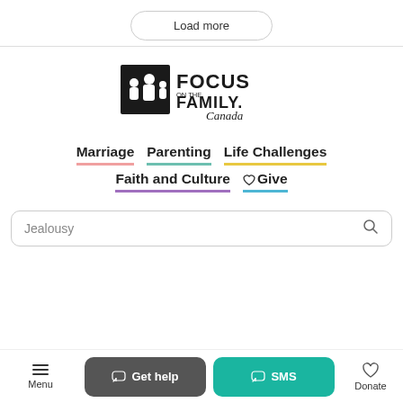Load more
[Figure (logo): Focus on the Family Canada logo — stylized family silhouette with text 'FOCUS ON THE FAMILY Canada']
Marriage
Parenting
Life Challenges
Faith and Culture
Give
Jealousy
Menu | Get help | SMS | Donate